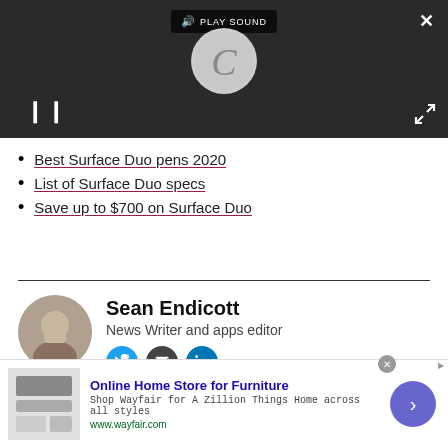[Figure (screenshot): Video player with dark background, loading spinner circle, PLAY SOUND button, pause button, close X button, and expand button]
Best Surface Duo pens 2020
List of Surface Duo specs
Save up to $700 on Surface Duo
Sean Endicott
News Writer and apps editor
[Figure (screenshot): Advertisement banner for Wayfair - Online Home Store for Furniture with shop description and navigation arrow]